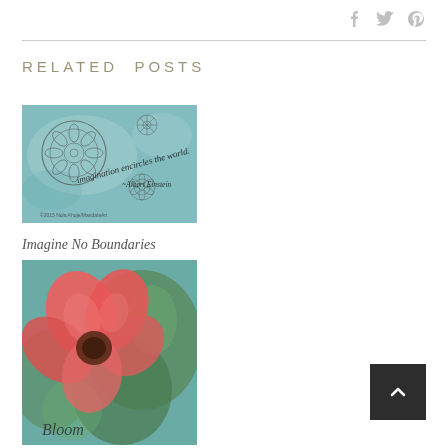RELATED POSTS
[Figure (illustration): Watercolor illustration with mandala/zentangle designs on a teal/blue background with text 'imagination encircles the world. ~Albert Einstein']
Imagine No Boundaries
[Figure (illustration): Watercolor painting of a large red/coral flower (poppy) with green leaves on a teal background, with cursive text 'Bloom']